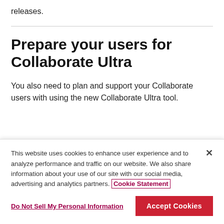releases.
Prepare your users for Collaborate Ultra
You also need to plan and support your Collaborate users with using the new Collaborate Ultra tool.
This website uses cookies to enhance user experience and to analyze performance and traffic on our website. We also share information about your use of our site with our social media, advertising and analytics partners. Cookie Statement
Do Not Sell My Personal Information
Accept Cookies